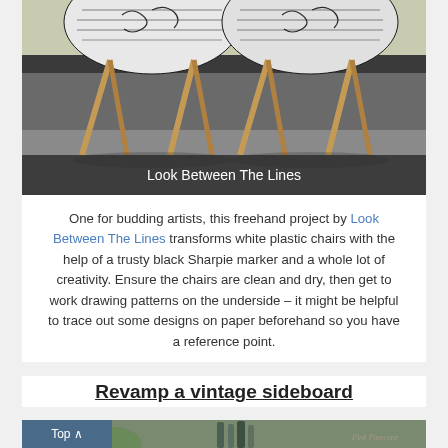[Figure (photo): Two Eames-style chairs with black-and-white freehand Sharpie drawings on their seats, wooden legs, photographed against a cream and dark wall. Dark caption bar reads 'Look Between The Lines'.]
Look Between The Lines
One for budding artists, this freehand project by Look Between The Lines transforms white plastic chairs with the help of a trusty black Sharpie marker and a whole lot of creativity. Ensure the chairs are clean and dry, then get to work drawing patterns on the underside – it might be helpful to trace out some designs on paper beforehand so you have a reference point.
Revamp a vintage sideboard
[Figure (photo): Partial view of a vintage sideboard styled as a bar with bottles and plants. Pink Pinecone watermark visible.]